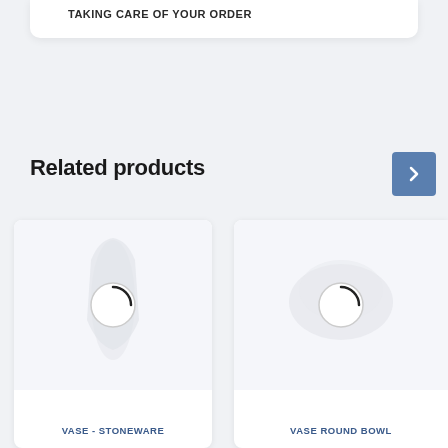TAKING CARE OF YOUR ORDER
Related products
[Figure (photo): Product image of a white stoneware vase with loading spinner overlay]
VASE - STONEWARE
[Figure (photo): Product image of a white round bowl vase with loading spinner overlay]
VASE ROUND BOWL